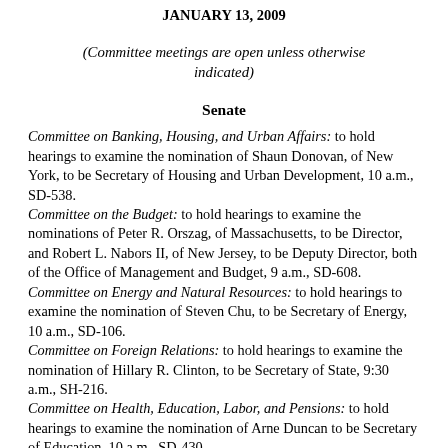JANUARY 13, 2009
(Committee meetings are open unless otherwise indicated)
Senate
Committee on Banking, Housing, and Urban Affairs: to hold hearings to examine the nomination of Shaun Donovan, of New York, to be Secretary of Housing and Urban Development, 10 a.m., SD-538. Committee on the Budget: to hold hearings to examine the nominations of Peter R. Orszag, of Massachusetts, to be Director, and Robert L. Nabors II, of New Jersey, to be Deputy Director, both of the Office of Management and Budget, 9 a.m., SD-608. Committee on Energy and Natural Resources: to hold hearings to examine the nomination of Steven Chu, to be Secretary of Energy, 10 a.m., SD-106. Committee on Foreign Relations: to hold hearings to examine the nomination of Hillary R. Clinton, to be Secretary of State, 9:30 a.m., SH-216. Committee on Health, Education, Labor, and Pensions: to hold hearings to examine the nomination of Arne Duncan to be Secretary of Education, 10 a.m., SD-430.